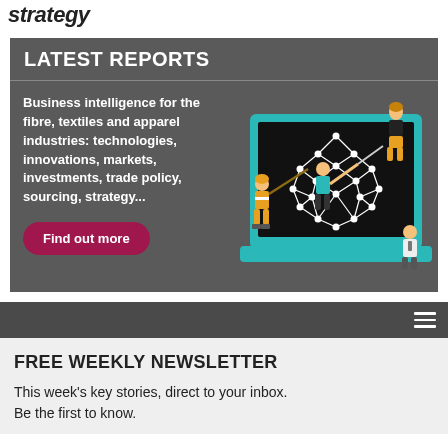strategy
LATEST REPORTS
Business intelligence for the fibre, textiles and apparel industries: technologies, innovations, markets, investments, trade policy, sourcing, strategy...
Find out more
[Figure (illustration): Illustrated people interacting with a large laptop displaying a molecular/geodesic structure. Figures include a hockey player, a person with a sword, a seated woman, and a standing figure in suit.]
FREE WEEKLY NEWSLETTER
This week's key stories, direct to your inbox. Be the first to know.